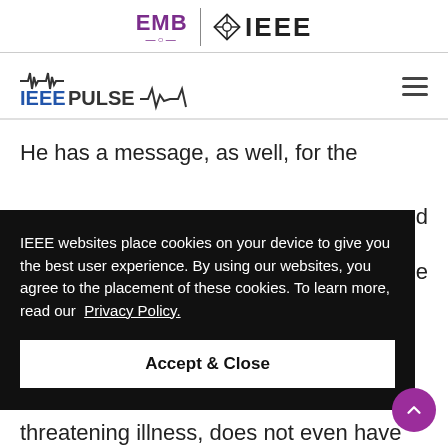[Figure (logo): EMB | IEEE logo header with purple EMB text and IEEE diamond logo]
[Figure (logo): IEEE PULSE magazine logo with ECG waveform graphic and hamburger menu icon]
He has a message, as well, for the
IEEE websites place cookies on your device to give you the best user experience. By using our websites, you agree to the placement of these cookies. To learn more, read our Privacy Policy.
Accept & Close
threatening illness, does not even have